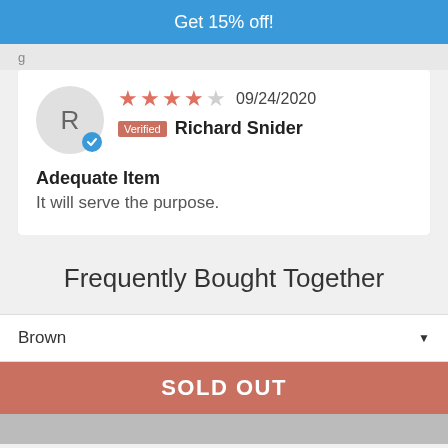Get 15% off!
Verified  Richard Snider
09/24/2020
Adequate Item
It will serve the purpose.
Frequently Bought Together
Brown
SOLD OUT